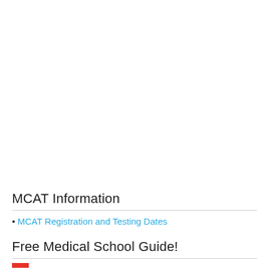MCAT Information
• MCAT Registration and Testing Dates
Free Medical School Guide!